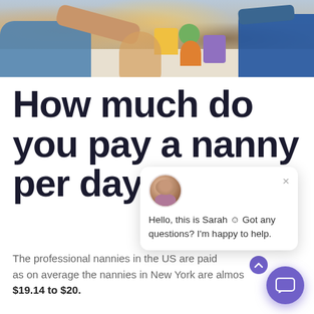[Figure (photo): Photo of an adult and child playing with colorful stacking toy cups/blocks on a carpet floor, viewed from above.]
How much do you pay a nanny per day?
[Figure (screenshot): Chat popup widget with avatar of Sarah saying: Hello, this is Sarah ☺ Got any questions? I'm happy to help. With a close X button and a purple chat button icon.]
The professional nannies in the US are paid hourly as on average the nannies in New York are almost $19.14 to $20.